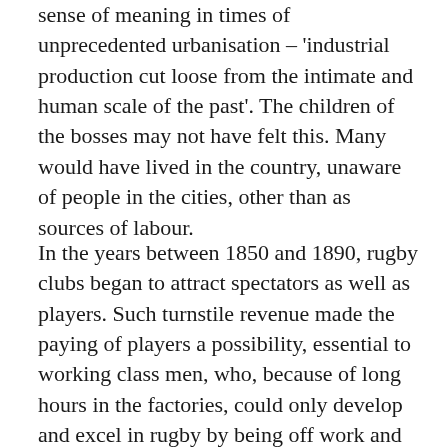sense of meaning in times of unprecedented urbanisation – 'industrial production cut loose from the intimate and human scale of the past'. The children of the bosses may not have felt this. Many would have lived in the country, unaware of people in the cities, other than as sources of labour.
In the years between 1850 and 1890, rugby clubs began to attract spectators as well as players. Such turnstile revenue made the paying of players a possibility, essential to working class men, who, because of long hours in the factories, could only develop and excel in rugby by being off work and losing their pay. The RFU declared professionalism illegal in the late 1880's, ostensibly to safeguard fair play. It